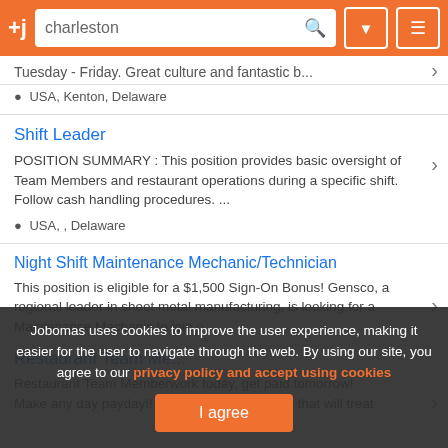+j  charleston  [search icon] [filter icon] [menu icon]
Tuesday - Friday. Great culture and fantastic b...
USA, Kenton, Delaware
Shift Leader
POSITION SUMMARY : This position provides basic oversight of Team Members and restaurant operations during a specific shift. Follow cash handling procedures. ...
USA, , Delaware
Night Shift Maintenance Mechanic/Technician
This position is eligible for a $1,500 Sign-On Bonus! Gensco, a regional leader in sheet metal manufacturing, is looking for a Maintenance Mechanic to join o...
Restaurant Team Me...
Restaurant Team Memberwork today, get paid tomorrow! Make any day payday!! ooking for an employer that will treat
Jobomas uses cookies to improve the user experience, making it easier for the user to navigate through the web. By using our site, you agree to our privacy policy and accept using cookies
I agree